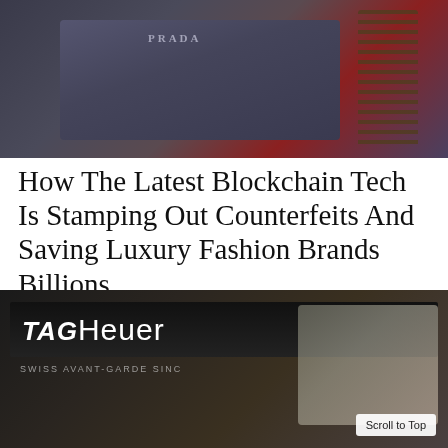[Figure (photo): Close-up photo of Prada luxury handbags — a dark navy/slate envelope-style clutch with PRADA logo in center, and a handbag with gold chain strap on the right, against a red/burgundy surface.]
How The Latest Blockchain Tech Is Stamping Out Counterfeits And Saving Luxury Fashion Brands Billions
BY LLM REPORTERS
[Figure (photo): Photo of TAG Heuer storefront sign reading 'TAGHeuer SWISS AVANT-GARDE SINCE' with luxury watches displayed in foreground on a dark background.]